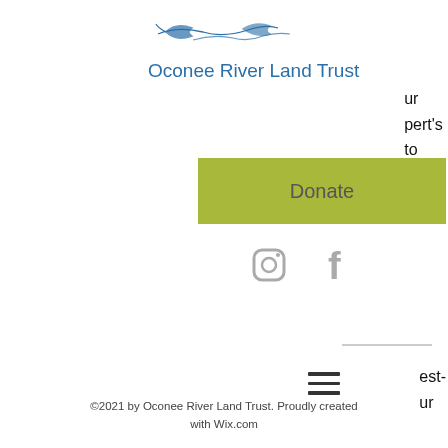[Figure (logo): Oconee River Land Trust logo with fish/river illustration above the text]
ur
pert's
to
t Help
rvice.
[Figure (other): Donate button (olive/yellow-green rectangle)]
[Figure (other): Instagram and Facebook social media icons in gray]
[Figure (other): Hamburger menu icon (three horizontal bars)]
est-
ur
donation directly helps us protect Georgia's wilderness and working lands, clean drinking water, and wildlife habitat for current and future residents of our beautiful state.
(706) 552-3138
©2021 by Oconee River Land Trust. Proudly created with Wix.com